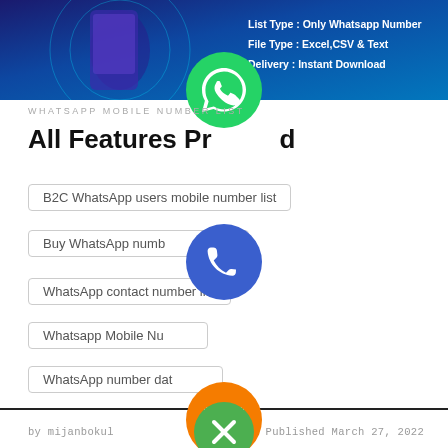[Figure (screenshot): Dark blue gradient banner with text: 'List Type : Only Whatsapp Number', 'File Type : Excel,CSV & Text', 'Delivery : Instant Download']
WHATSAPP MOBILE NUMBER LIST
All Features Provided
B2C WhatsApp users mobile number list
Buy WhatsApp number
WhatsApp contact number list
Whatsapp Mobile Number
WhatsApp number database
WhatsApp number list
by mijanbokul   Published March 27, 2022
[Figure (illustration): Overlapping social media icons: green WhatsApp, blue phone, orange email, green LINE, purple Viber, green close/X button]
[Figure (illustration): Green WhatsApp icon circle at top center]
[Figure (illustration): Blue phone icon circle]
[Figure (illustration): Orange email/envelope icon circle]
[Figure (illustration): Green LINE icon circle]
[Figure (illustration): Purple Viber icon circle]
[Figure (illustration): Green close/X icon circle]